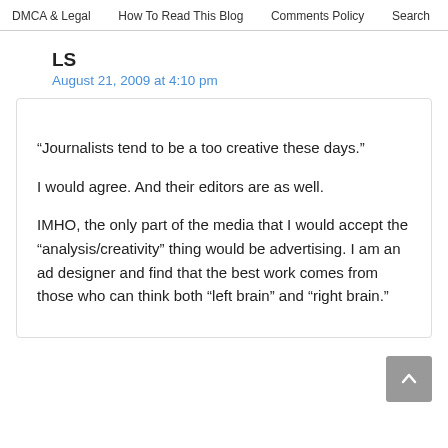DMCA & Legal   How To Read This Blog   Comments Policy   Search
LS
August 21, 2009 at 4:10 pm
“Journalists tend to be a too creative these days.”

I would agree. And their editors are as well.

IMHO, the only part of the media that I would accept the “analysis/creativity” thing would be advertising. I am an ad designer and find that the best work comes from those who can think both “left brain” and “right brain.”